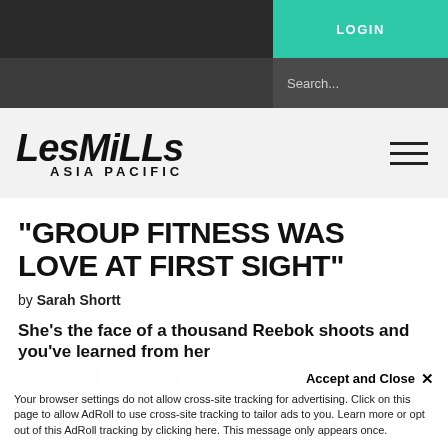LOGIN
[Figure (screenshot): Les Mills Asia Pacific website header with logo and hamburger menu on light grey background]
“GROUP FITNESS WAS LOVE AT FIRST SIGHT”
by Sarah Shortt
She’s the face of a thousand Reebok shoots and you’ve learned from her
Accept and Close ×
Your browser settings do not allow cross-site tracking for advertising. Click on this page to allow AdRoll to use cross-site tracking to tailor ads to you. Learn more or opt out of this AdRoll tracking by clicking here. This message only appears once.